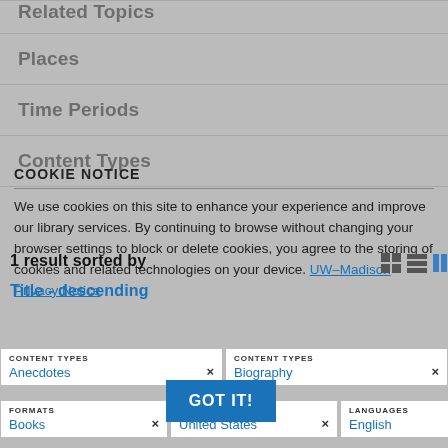Related Topics
Places
Time Periods
Content Types
COOKIE NOTICE
We use cookies on this site to enhance your experience and improve our library services. By continuing to browse without changing your browser settings to block or delete cookies, you agree to the storing of cookies and related technologies on your device. UW–Madison Privacy Notice
1 result sorted by
Title - descending
CONTENT TYPES Anecdotes ×
CONTENT TYPES Biography ×
FORMATS Books ×
PLACES United States ×
LANGUAGES English ×
GOT IT!